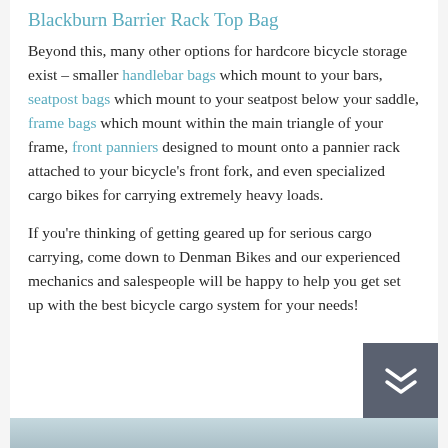Blackburn Barrier Rack Top Bag
Beyond this, many other options for hardcore bicycle storage exist – smaller handlebar bags which mount to your bars, seatpost bags which mount to your seatpost below your saddle, frame bags which mount within the main triangle of your frame, front panniers designed to mount onto a pannier rack attached to your bicycle's front fork, and even specialized cargo bikes for carrying extremely heavy loads.
If you're thinking of getting geared up for serious cargo carrying, come down to Denman Bikes and our experienced mechanics and salespeople will be happy to help you get set up with the best bicycle cargo system for your needs!
[Figure (photo): Bottom strip of a photo, light blue-grey gradient, partially visible image]